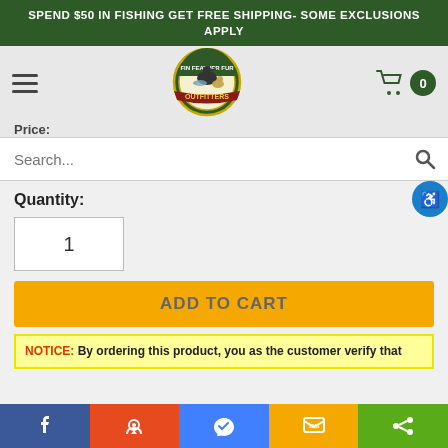SPEND $50 IN FISHING GET FREE SHIPPING- SOME EXCLUSIONS APPLY
[Figure (logo): Fin Feather Fur Outfitters circular logo with a goose, fish, and deer inside a green and gold bordered circle with a red ribbon banner reading OUTFITTERS]
Quantity:
1
ADD TO CART
NOTICE: By ordering this product, you as the customer verify that
Facebook | Reddit | Messenger | SMS | Share